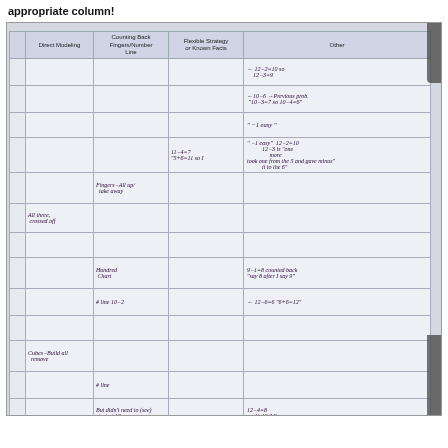appropriate column!
[Figure (photo): Photograph of a classroom observation/strategy tracking table with handwritten notes. Columns: (unnamed id), Direct Modeling, Counting Back Fingers/Number Line, Flexible Strategy or Known Facts, Other. Rows contain handwritten student strategy observations including notes like '12-2=10 so 12-3=9', '10-6, 10-3=7 so 10-4=6', '-1 easy', 'Fingers-All up/take away', 'All three, crossed off', 'Hundred Chart', '#line 10-2', 'Cubes-Build all remove', '#line', 'But didn't need to(see) start at 12', '12-4=8, 11,10,9,8', etc.]